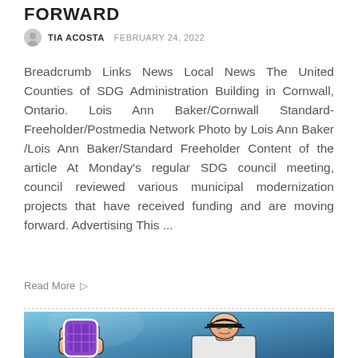FORWARD
TIA ACOSTA  FEBRUARY 24, 2022
Breadcrumb Links News Local News The United Counties of SDG Administration Building in Cornwall, Ontario. Lois Ann Baker/Cornwall Standard-Freeholder/Postmedia Network Photo by Lois Ann Baker /Lois Ann Baker/Standard Freeholder Content of the article At Monday's regular SDG council meeting, council reviewed various municipal modernization projects that have received funding and are moving forward. Advertising This ...
Read More
[Figure (illustration): Illustrated image showing hands holding a purple object and a person wearing a dark cap, with a blue gradient background]